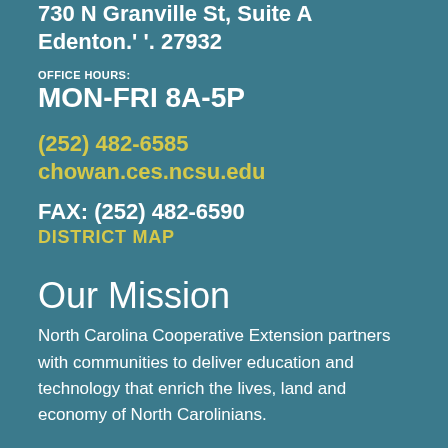730 N Granville St, Suite A
Edenton.' '. 27932
OFFICE HOURS:
MON-FRI 8A-5P
(252) 482-6585
chowan.ces.ncsu.edu
FAX: (252) 482-6590
DISTRICT MAP
Our Mission
North Carolina Cooperative Extension partners with communities to deliver education and technology that enrich the lives, land and economy of North Carolinians.
La Extensión Cooperativa de Carolina del Norte se asocia con las comunidades para ofrecer